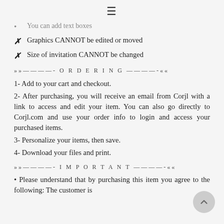≡
• You can add text boxes
✗ Graphics CANNOT be edited or moved
✗ Size of invitation CANNOT be changed
»»————- O R D E R I N G ————-««
1- Add to your cart and checkout.
2- After purchasing, you will receive an email from Corjl with a link to access and edit your item. You can also go directly to Corjl.com and use your order info to login and access your purchased items.
3- Personalize your items, then save.
4- Download your files and print.
»»————- I M P O R T A N T ————-««
• Please understand that by purchasing this item you agree to the following: The customer is